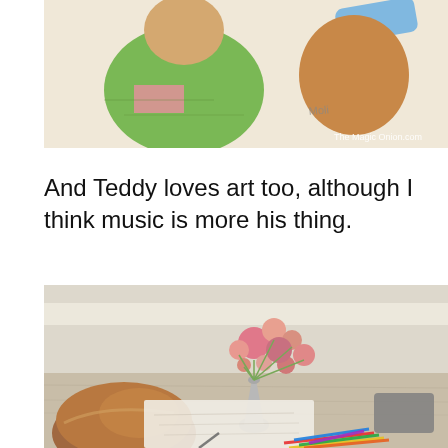[Figure (photo): Child's colorful crayon drawing of figures, partially visible at the top of the page. A watermark reads 'The Magic Onion.com' in the bottom right corner.]
And Teddy loves art too, although I think music is more his thing.
[Figure (photo): A young boy with brown hair is sitting at a light wood table drawing on paper, with colorful markers and pencils scattered on the table, and a decorative vase with round pink and peach pom-pom flowers in the background.]